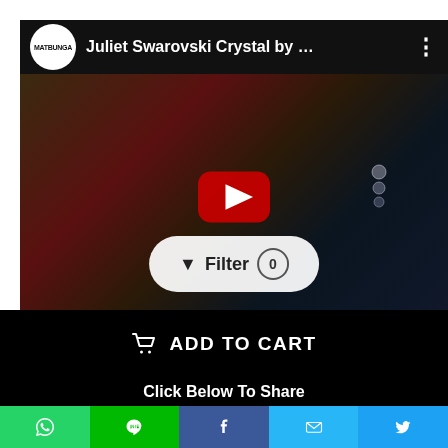[Figure (screenshot): YouTube video thumbnail showing a Matbunga channel video titled 'Juliet Swarovski Crystal by ...' with a dark background featuring flowing fabric and a play button overlay. A Filter (0) button is overlaid at the bottom.]
ADD TO CART
Click Below To Share